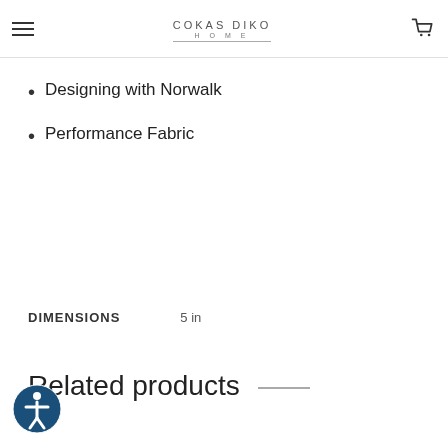COKAS DIKO HOME
Designing with Norwalk
Performance Fabric
DIMENSIONS    5 in
Related products